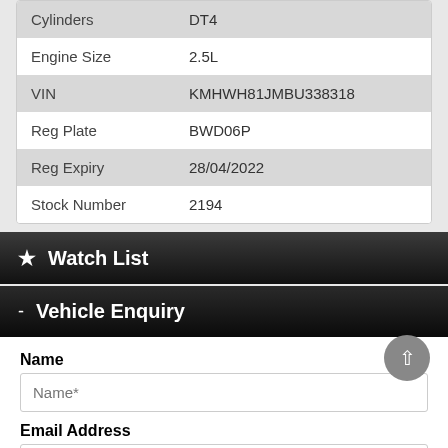| Field | Value |
| --- | --- |
| Cylinders | DT4 |
| Engine Size | 2.5L |
| VIN | KMHWH81JMBU338318 |
| Reg Plate | BWD06P |
| Reg Expiry | 28/04/2022 |
| Stock Number | 2194 |
Watch List
Vehicle Enquiry
Name
Name*
Email Address
Email*